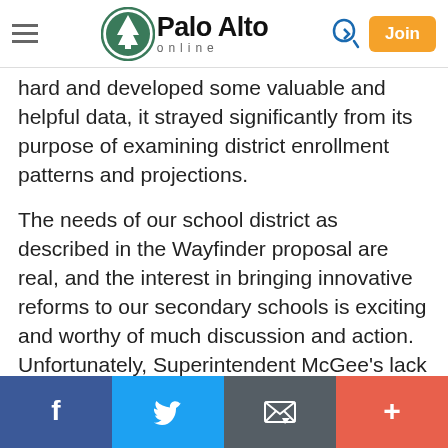Palo Alto Online
hard and developed some valuable and helpful data, it strayed significantly from its purpose of examining district enrollment patterns and projections.
The needs of our school district as described in the Wayfinder proposal are real, and the interest in bringing innovative reforms to our secondary schools is exciting and worthy of much discussion and action. Unfortunately, Superintendent McGee's lack of transparency has created a mess that must first be repaired. That must start with apologies to the board, EMAC committee members and the public, and his acknowledgment that secrecy is the enemy of democracy.
Social share bar: Facebook, Twitter, Email, More